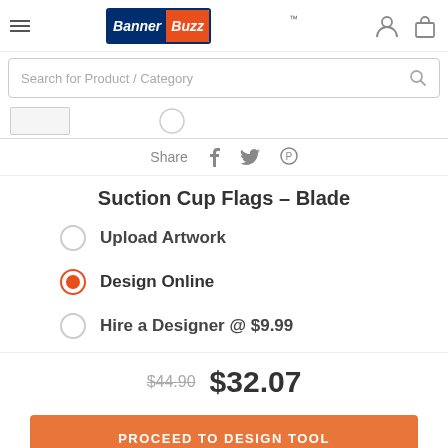BannerBuzz — website header with hamburger menu, logo, user icon, cart icon
Search for Product / Category
[Figure (screenshot): Partially visible product image thumbnail strip]
Share
Suction Cup Flags – Blade
Upload Artwork
Design Online (selected)
Hire a Designer @ $9.99
$44.90  $32.07
PROCEED TO DESIGN TOOL